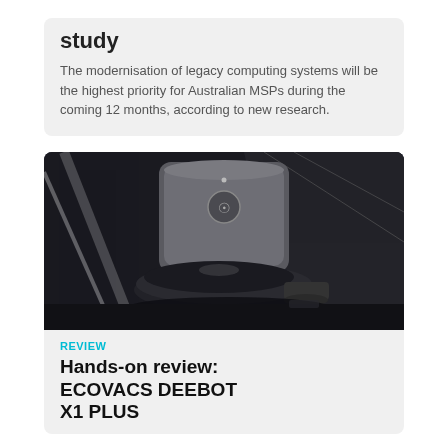study
The modernisation of legacy computing systems will be the highest priority for Australian MSPs during the coming 12 months, according to new research.
[Figure (photo): Photo of ECOVACS DEEBOT X1 PLUS robot vacuum with charging/docking station in a dark dramatic setting with angular light streaks in background]
REVIEW
Hands-on review: ECOVACS DEEBOT X1 PLUS